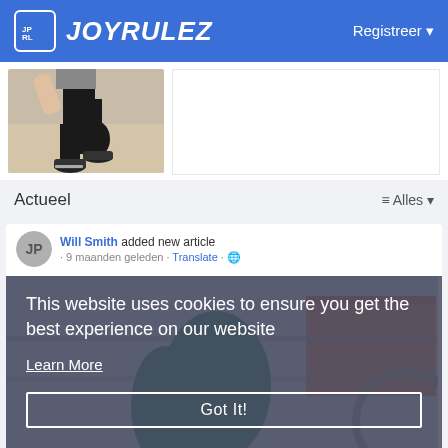JOYRULEZ — Registreer
[Figure (screenshot): Screenshot of the Joyrulez website with running/fitness person image in top section]
Actueel
≡ Alles
Will Smith added new article
9 maanden geleden · Translate · 🌐
This website uses cookies to ensure you get the best experience on our website
Learn More
Got It!